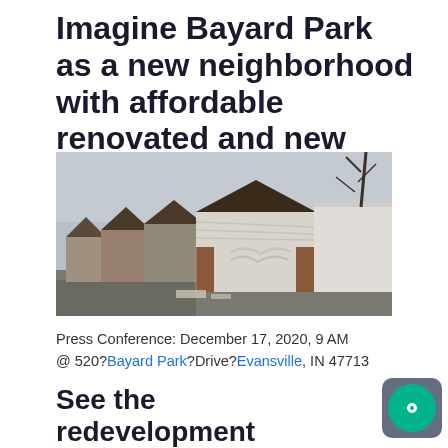Imagine Bayard Park as a new neighborhood with affordable renovated and new homes.
[Figure (photo): Street-level photograph of a row of dilapidated small houses with peeling white siding and brick pillars in Bayard Park, Evansville, IN. Overcast winter sky, bare trees visible.]
Press Conference: December 17, 2020, 9 AM @ 520?​Bayard Park​?Drive?​Evansville, IN 47713
See the redevelopment